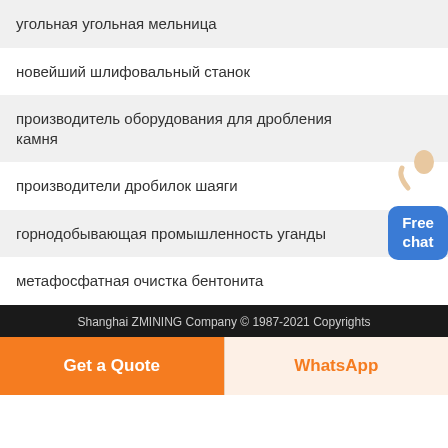угольная угольная мельница
новейший шлифовальный станок
производитель оборудования для дробления камня
производители дробилок шаяги
горнодобывающая промышленность уганды
метафосфатная очистка бентонита
Shanghai ZMINING Company © 1987-2021 Copyrights
Get a Quote
WhatsApp